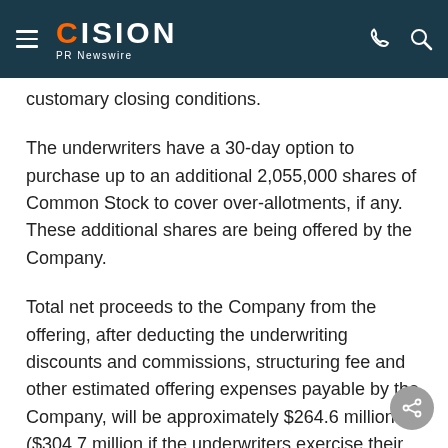CISION PR Newswire
customary closing conditions.
The underwriters have a 30-day option to purchase up to an additional 2,055,000 shares of Common Stock to cover over-allotments, if any.  These additional shares are being offered by the Company.
Total net proceeds to the Company from the offering, after deducting the underwriting discounts and commissions, structuring fee and other estimated offering expenses payable by the Company, will be approximately $264.6 million ($304.7 million if the underwriters exercise their over-allotment option in full).